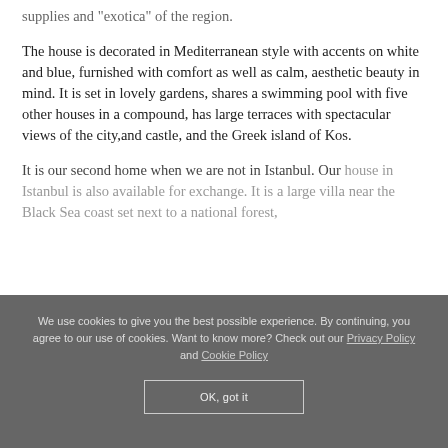supplies and "exotica" of the region.
The house is decorated in Mediterranean style with accents on white and blue, furnished with comfort as well as calm, aesthetic beauty in mind. It is set in lovely gardens, shares a swimming pool with five other houses in a compound, has large terraces with spectacular views of the city,and castle, and the Greek island of Kos.
It is our second home when we are not in Istanbul. Our house in Istanbul is also available for exchange. It is a large villa near the Black Sea coast set next to a national forest,
We use cookies to give you the best possible experience. By continuing, you agree to our use of cookies. Want to know more? Check out our Privacy Policy and Cookie Policy
OK, got it